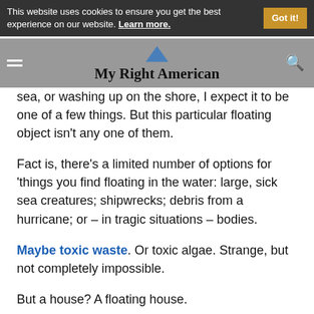This website uses cookies to ensure you get the best experience on our website. Learn more. Got it!
My Right American
sea, or washing up on the shore, I expect it to be one of a few things. But this particular floating object isn’t any one of them.
Fact is, there’s a limited number of options for ‘things you find floating in the water: large, sick sea creatures; shipwrecks; debris from a hurricane; or – in tragic situations – bodies.
Maybe toxic waste. Or toxic algae. Strange, but not completely impossible.
But a house? A floating house.
Yes, that’s completely strange. That’s new.